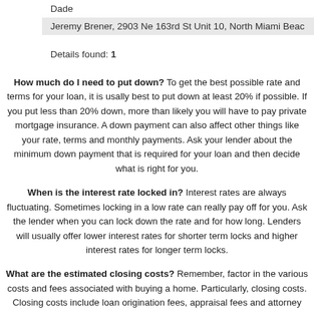| Dade |
| Jeremy Brener, 2903 Ne 163rd St Unit 10, North Miami Bea... |
Details found: 1
How much do I need to put down? To get the best possible rate and terms for your loan, it is usally best to put down at least 20% if possible. If you put less than 20% down, more than likely you will have to pay private mortgage insurance. A down payment can also affect other things like your rate, terms and monthly payments. Ask your lender about the minimum down payment that is required for your loan and then decide what is right for you.
When is the interest rate locked in? Interest rates are always fluctuating. Sometimes locking in a low rate can really pay off for you. Ask the lender when you can lock down the rate and for how long. Lenders will usually offer lower interest rates for shorter term locks and higher interest rates for longer term locks.
What are the estimated closing costs? Remember, factor in the various costs and fees associated with buying a home. Particularly, closing costs. Closing costs include loan origination fees, appraisal fees and attorney